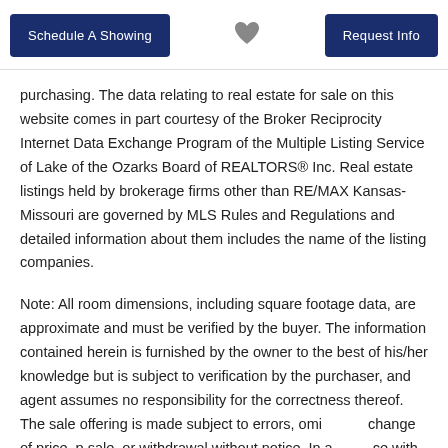Schedule A Showing | [heart] | Request Info
purchasing. The data relating to real estate for sale on this website comes in part courtesy of the Broker Reciprocity Internet Data Exchange Program of the Multiple Listing Service of Lake of the Ozarks Board of REALTORS® Inc. Real estate listings held by brokerage firms other than RE/MAX Kansas-Missouri are governed by MLS Rules and Regulations and detailed information about them includes the name of the listing companies.
Note: All room dimensions, including square footage data, are approximate and must be verified by the buyer. The information contained herein is furnished by the owner to the best of his/her knowledge but is subject to verification by the purchaser, and agent assumes no responsibility for the correctness thereof. The sale offering is made subject to errors, omissions, change of price, prior sale, or withdrawal without notice. In accordance with the Law, this property is offered without respect to race, color, creed, national